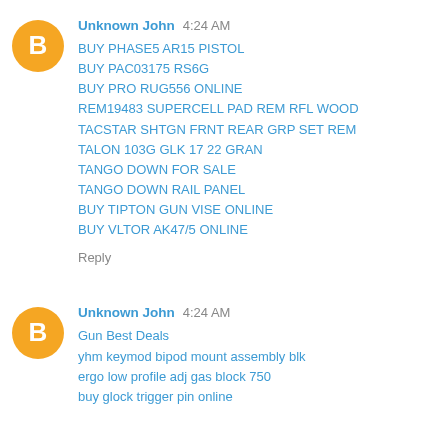[Figure (illustration): Orange circular Blogger avatar icon with white letter B]
Unknown John  4:24 AM
BUY PHASE5 AR15 PISTOL
BUY PAC03175 RS6G
BUY PRO RUG556 ONLINE
REM19483 SUPERCELL PAD REM RFL WOOD
TACSTAR SHTGN FRNT REAR GRP SET REM
TALON 103G GLK 17 22 GRAN
TANGO DOWN FOR SALE
TANGO DOWN RAIL PANEL
BUY TIPTON GUN VISE ONLINE
BUY VLTOR AK47/5 ONLINE
Reply
[Figure (illustration): Orange circular Blogger avatar icon with white letter B]
Unknown John  4:24 AM
Gun Best Deals
yhm keymod bipod mount assembly blk
ergo low profile adj gas block 750
buy glock trigger pin online